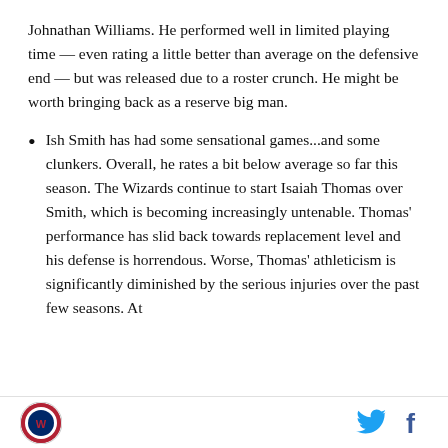Johnathan Williams. He performed well in limited playing time — even rating a little better than average on the defensive end — but was released due to a roster crunch. He might be worth bringing back as a reserve big man.
Ish Smith has had some sensational games...and some clunkers. Overall, he rates a bit below average so far this season. The Wizards continue to start Isaiah Thomas over Smith, which is becoming increasingly untenable. Thomas' performance has slid back towards replacement level and his defense is horrendous. Worse, Thomas' athleticism is significantly diminished by the serious injuries over the past few seasons. At
[logo] [twitter] [facebook]